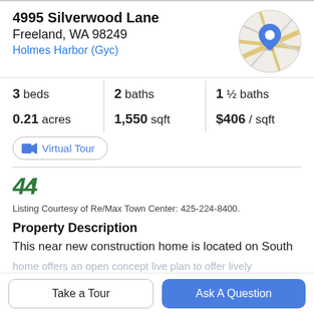4995 Silverwood Lane
Freeland, WA 98249
Holmes Harbor (Gyc)
[Figure (map): Circular map thumbnail showing location with a blue map pin marker]
3 beds   2 baths   1 ½ baths
0.21 acres   1,550 sqft   $406 / sqft
Virtual Tour
[Figure (logo): Re/Max logo stylized as double M in green italic]
Listing Courtesy of Re/Max Town Center: 425-224-8400.
Property Description
This near new construction home is located on South
Take a Tour
Ask A Question
home offers an open concept live plan to offer lively